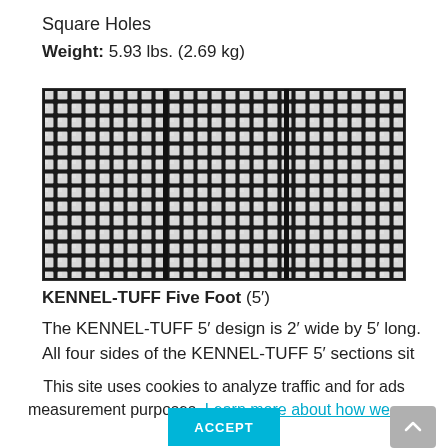Square Holes
Weight: 5.93 lbs. (2.69 kg)
[Figure (photo): Photograph of a KENNEL-TUFF Five Foot floor panel with square holes arranged in a grid pattern, showing three sections side by side.]
KENNEL-TUFF Five Foot (5′)
The KENNEL-TUFF 5′ design is 2′ wide by 5′ long. All four sides of the KENNEL-TUFF 5′ sections sit
This site uses cookies to analyze traffic and for ads measurement purposes. Learn more about how we use cookies.
ACCEPT